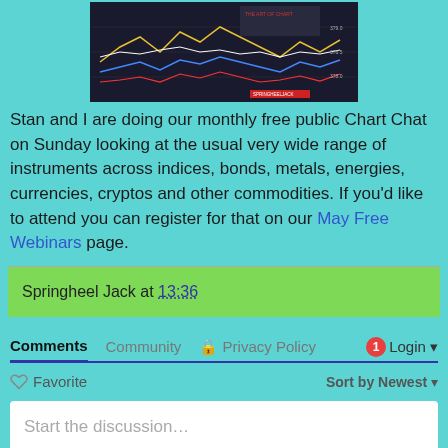[Figure (screenshot): Financial chart screenshot showing 'The Art of Chart' logo with colored line charts on dark background]
Stan and I are doing our monthly free public Chart Chat on Sunday looking at the usual very wide range of instruments across indices, bonds, metals, energies, currencies, cryptos and other commodities. If you'd like to attend you can register for that on our May Free Webinars page.
Springheel Jack at 13:36
Comments   Community   Privacy Policy   1   Login
Favorite   Sort by Newest
Start the discussion…
LOG IN WITH